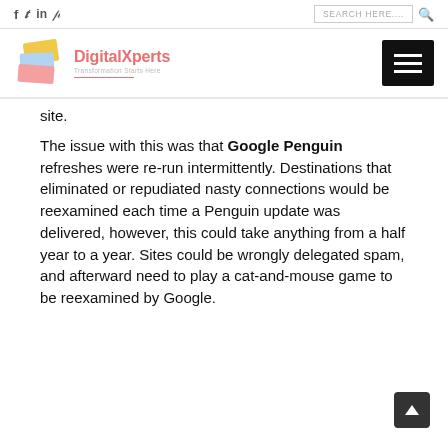f  tw  in  P   SEARCH HERE....  [search icon]
[Figure (logo): DigitalXperts logo with layered colorful squares and text 'DigitalXperts - Transformation Starts Here']
site.
The issue with this was that Google Penguin refreshes were re-run intermittently. Destinations that eliminated or repudiated nasty connections would be reexamined each time a Penguin update was delivered, however, this could take anything from a half year to a year. Sites could be wrongly delegated spam, and afterward need to play a cat-and-mouse game to be reexamined by Google.